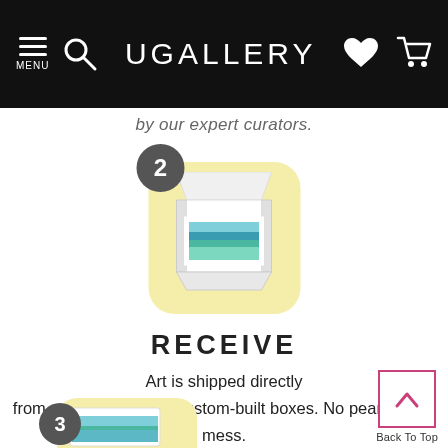UGALLERY — navigation bar with menu, search, logo, heart and cart icons
by our expert curators.
[Figure (illustration): Step 2 icon: a pale yellow rounded square with a white open box containing a landscape painting with teal/blue tones, with a dark grey circle badge showing the number 2]
RECEIVE
Art is shipped directly from artists' studios in custom-built boxes. No peanuts, no mess.
[Figure (illustration): Back To Top button: a pink/magenta bordered square with an upward chevron arrow, labeled 'Back To Top']
[Figure (illustration): Step 3 icon (partially visible at bottom): pale yellow rounded square partially shown with a dark grey circle badge showing the number 3]